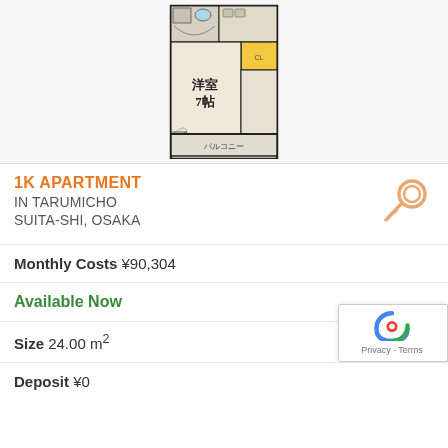[Figure (schematic): Floor plan of a 1K apartment showing a main Western-style room (洋室 7帖), closet (CL), bathroom, kitchen area, and a balcony (バルコニー) at the bottom. The layout is narrow and tall.]
1K APARTMENT IN TARUMICHO SUITA-SHI, OSAKA
Monthly Costs ¥90,304
Available Now
Size 24.00 m²
Deposit ¥0